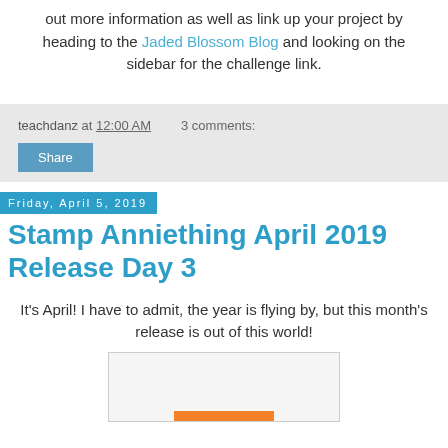out more information as well as link up your project by heading to the Jaded Blossom Blog and looking on the sidebar for the challenge link.
teachdanz at 12:00 AM    3 comments:
Share
Friday, April 5, 2019
Stamp Anniething April 2019 Release Day 3
It's April!  I have to admit, the year is flying by, but this month's release is out of this world!
[Figure (photo): Image placeholder with orange bar at bottom]